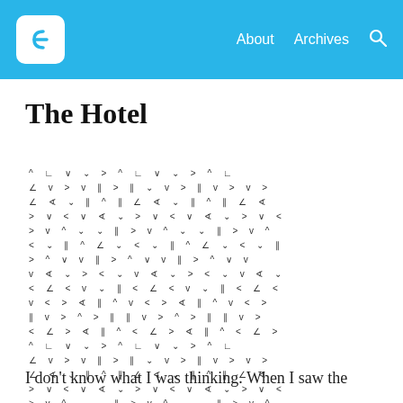About  Archives  [search]
The Hotel
[Figure (illustration): A repeating pattern of small arrow-like characters (^, v, <, >, angle brackets) arranged in rows filling the page area between the title and the closing text.]
I don’t know what I was thinking. When I saw the